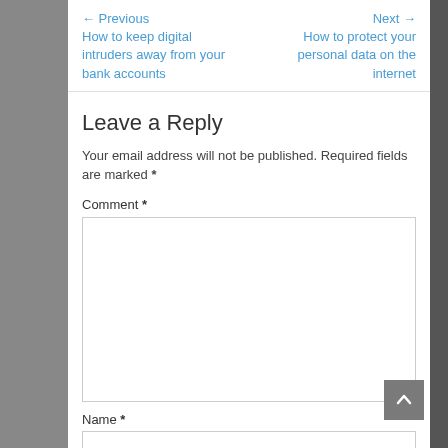← Previous How to keep digital intruders away from your bank accounts
Next → How to protect your personal data on the internet
Leave a Reply
Your email address will not be published. Required fields are marked *
Comment *
Name *